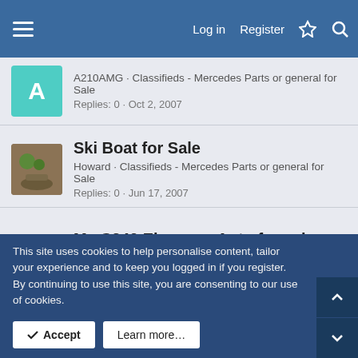Log in  Register
A210AMG · Classifieds - Mercedes Parts or general for Sale
Replies: 0 · Oct 2, 2007
Ski Boat for Sale
Howard · Classifieds - Mercedes Parts or general for Sale
Replies: 0 · Jun 17, 2007
My C240 Elegance Auto for sale
Alex Argent · Classifieds - Mercedes Parts or general for Sale
Replies: 2 · Jan 31, 2008
Share:
This site uses cookies to help personalise content, tailor your experience and to keep you logged in if you register.
By continuing to use this site, you are consenting to our use of cookies.